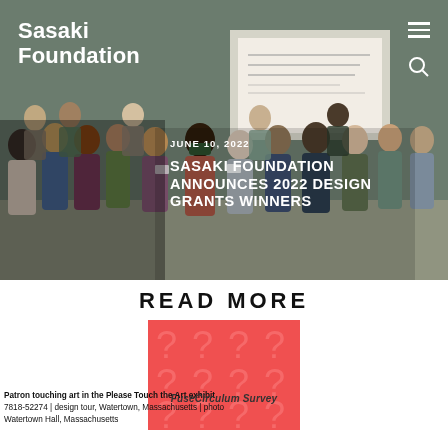Sasaki Foundation
JUNE 10, 2022
SASAKI FOUNDATION ANNOUNCES 2022 DESIGN GRANTS WINNERS
[Figure (photo): Group photo of approximately 20 people standing in an office/event space with a presentation screen visible in the background]
READ MORE
[Figure (infographic): Red background card with repeated question mark symbols in a lighter red/coral pattern, overlaid with text 'FuseCirculum Survey']
Patron touching art in the Please Touch the Art exhibit
Watertown Art, design tour, Watertown, Massachusetts | photo by Sasaki
Watertown Hall, Massachusetts
7818-52274 | design tour, Watertown, Massachusetts | photo